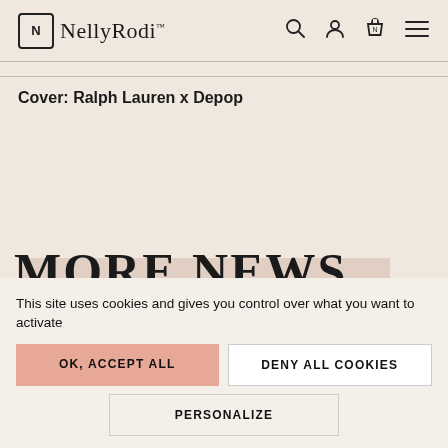NellyRodi™
Cover: Ralph Lauren x Depop
MORE NEWS
This site uses cookies and gives you control over what you want to activate
OK, ACCEPT ALL
DENY ALL COOKIES
PERSONALIZE